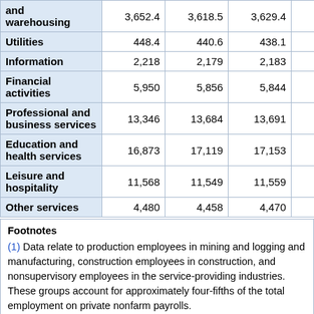| Industry | Col1 | Col2 | Col3 | Col4 |
| --- | --- | --- | --- | --- |
| and warehousing | 3,652.4 | 3,618.5 | 3,629.4 | 3,609.6 |
| Utilities | 448.4 | 440.6 | 438.1 | 438.2 |
| Information | 2,218 | 2,179 | 2,183 | 2,184 |
| Financial activities | 5,950 | 5,856 | 5,844 | 5,837 |
| Professional and business services | 13,346 | 13,684 | 13,691 | 13,708 |
| Education and health services | 16,873 | 17,119 | 17,153 | 17,198 |
| Leisure and hospitality | 11,568 | 11,549 | 11,559 | 11,581 |
| Other services | 4,480 | 4,458 | 4,470 | 4,475 |
Footnotes
(1) Data relate to production employees in mining and logging and manufacturing, construction employees in construction, and nonsupervisory employees in the service-providing industries. These groups account for approximately four-fifths of the total employment on private nonfarm payrolls.